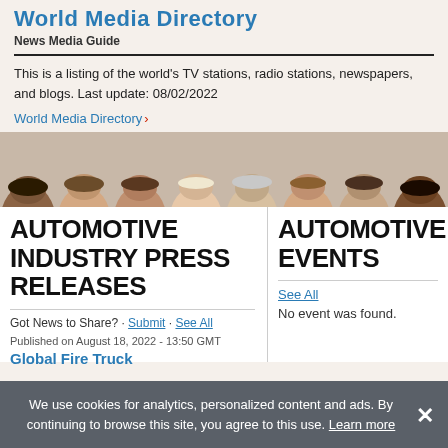World Media Directory
News Media Guide
This is a listing of the world's TV stations, radio stations, newspapers, and blogs. Last update: 08/02/2022
World Media Directory >
[Figure (photo): Row of eight people's faces from forehead to mid-face, looking upward, diverse group]
AUTOMOTIVE INDUSTRY PRESS RELEASES
AUTOMOTIVE EVENTS
Got News to Share? · Submit · See All
See All
No event was found.
Published on August 18, 2022 - 13:50 GMT
Global Fire Truck
We use cookies for analytics, personalized content and ads. By continuing to browse this site, you agree to this use. Learn more